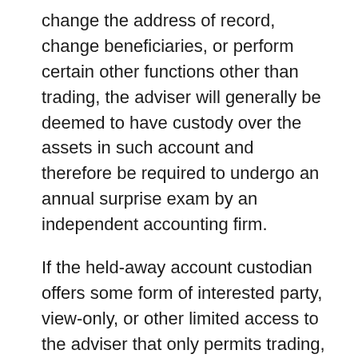change the address of record, change beneficiaries, or perform certain other functions other than trading, the adviser will generally be deemed to have custody over the assets in such account and therefore be required to undergo an annual surprise exam by an independent accounting firm.
If the held-away account custodian offers some form of interested party, view-only, or other limited access to the adviser that only permits trading, custody may be avoided… but tread carefully in this area and check out the SEC's Custody Rule FAQ's for further information (specifically Question II.6).
Use of the Term “ Expert” or Other Similar Words